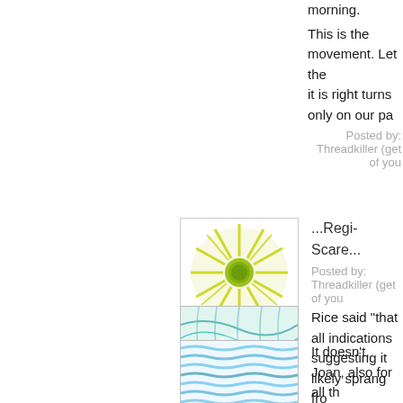morning.
This is the movement. Let the it is right turns only on our pa
Posted by: Threadkiller (get of you
...Regi-Scare...
Posted by: Threadkiller (get of you
[Figure (illustration): Green sunburst avatar with rays radiating from center circle]
Rice said "that all indications suggesting it likely sprang fro found on the Internet." The C anything about a video being
How does this excuse her tes
[Figure (illustration): Teal/cyan abstract digital texture avatar]
It doesn't, Joan, also for all th 'forgot' to check the date in th September 11th, but the 25th
[Figure (illustration): Light blue wavy lines avatar]